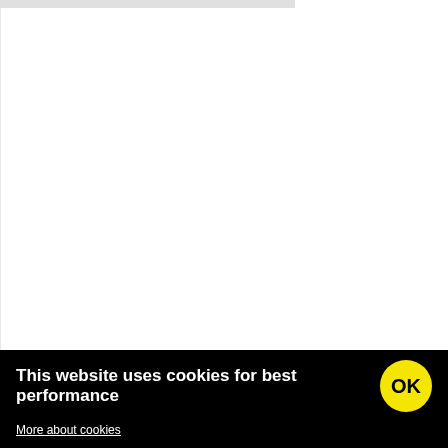[Figure (screenshot): Mostly blank white webpage area with a grey bar at the top left]
This website uses cookies for best performance
More about cookies